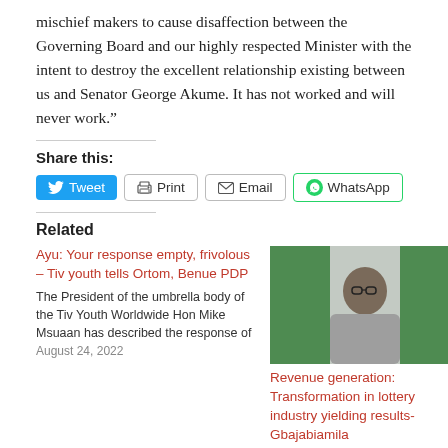mischief makers to cause disaffection between the Governing Board and our highly respected Minister with the intent to destroy the excellent relationship existing between us and Senator George Akume. It has not worked and will never work.”
Share this:
Tweet  Print  Email  WhatsApp
Related
Ayu: Your response empty, frivolous – Tiv youth tells Ortom, Benue PDP
The President of the umbrella body of the Tiv Youth Worldwide Hon Mike Msuaan has described the response of
August 24, 2022
[Figure (photo): A man in a grey shirt seated, with a Nigerian flag in the background]
Revenue generation: Transformation in lottery industry yielding results- Gbajabiamila